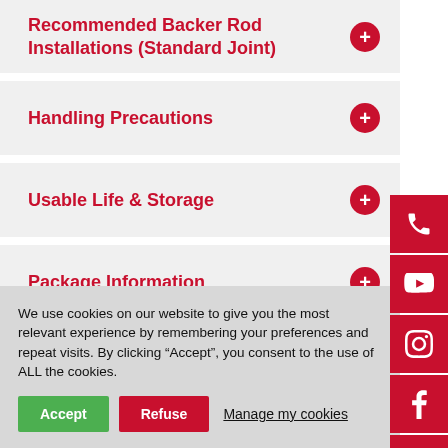Recommended Backer Rod Installations (Standard Joint)
Handling Precautions
Usable Life & Storage
Package Information
We use cookies on our website to give you the most relevant experience by remembering your preferences and repeat visits. By clicking “Accept”, you consent to the use of ALL the cookies.
Accept
Refuse
Manage my cookies